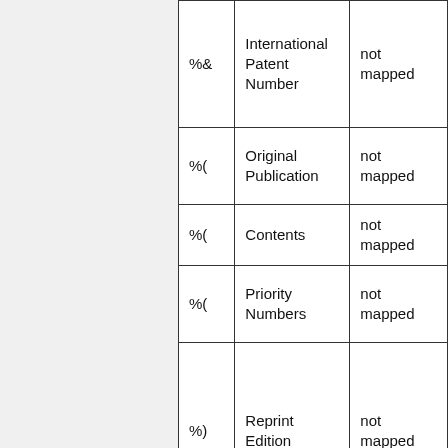| %& | International Patent Number | not mapped |
| %( | Original Publication | not mapped |
| %( | Contents | not mapped |
| %( | Priority Numbers | not mapped |
| %) | Reprint Edition | not mapped |
|  |  |  |